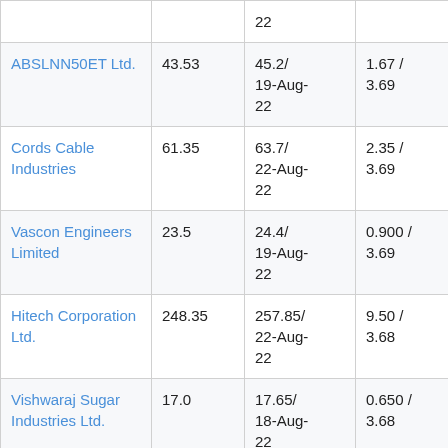| Name | Price | High/Date | Gain/Ratio | Volume |
| --- | --- | --- | --- | --- |
|  |  | 22 |  |  |
| ABSLNN50ET Ltd. | 43.53 | 45.2/ 19-Aug-22 | 1.67 / 3.69 | 21340 |
| Cords Cable Industries | 61.35 | 63.7/ 22-Aug-22 | 2.35 / 3.69 | 53060 |
| Vascon Engineers Limited | 23.5 | 24.4/ 19-Aug-22 | 0.900 / 3.69 | 567 K |
| Hitech Corporation Ltd. | 248.35 | 257.85/ 22-Aug-22 | 9.50 / 3.68 | 13126 |
| Vishwaraj Sugar Industries Ltd. | 17.0 | 17.65/ 18-Aug-22 | 0.650 / 3.68 | 479 K |
| Rupa and Company | 332.65 | 345.35/ 19-Aug-22 | 12.70 / 3.68 | 308 K |